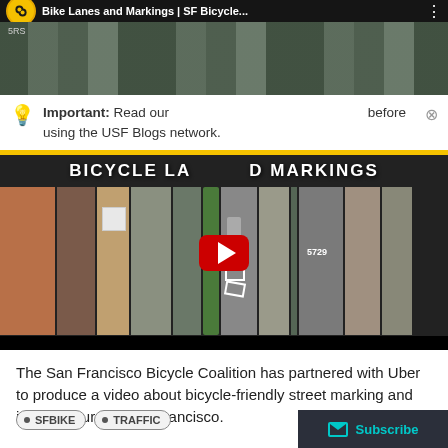[Figure (screenshot): YouTube video thumbnail showing aerial view of San Francisco streets with title 'Bike Lanes and Markings | SF Bicycle...']
Important: Read our before using the USF Blogs network.
[Figure (screenshot): Embedded YouTube video player showing aerial footage of bicycle lanes and markings in San Francisco with red play button and text 'BICYCLE LANES AND MARKINGS']
The San Francisco Bicycle Coalition has partnered with Uber to produce a video about bicycle-friendly street marking and infrastructure in San Francisco.
SFBIKE
TRAFFIC